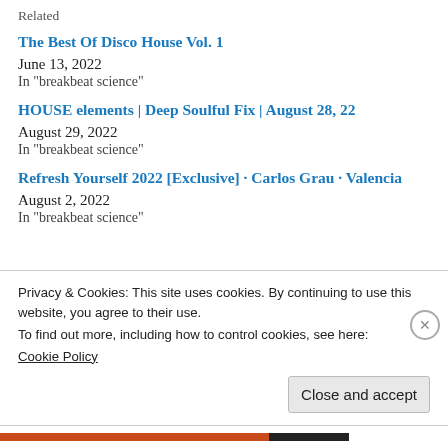Related
The Best Of Disco House Vol. 1
June 13, 2022
In "breakbeat science"
HOUSE elements | Deep Soulful Fix | August 28, 22
August 29, 2022
In "breakbeat science"
Refresh Yourself 2022 [Exclusive] · Carlos Grau · Valencia
August 2, 2022
In "breakbeat science"
Privacy & Cookies: This site uses cookies. By continuing to use this website, you agree to their use.
To find out more, including how to control cookies, see here:
Cookie Policy
Close and accept